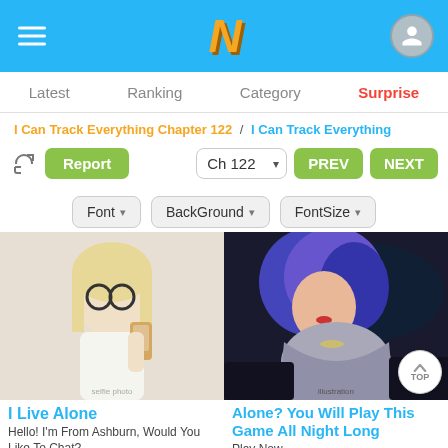Navigation header with menu, logo N, and avatar
Latest   Ranking   Category   Surprise
I Can Track Everything Chapter 122 / I Can Track Everything
Report   Ch 122   PREV   NEXT
Font   BackGround   FontSize
[Figure (photo): Photo of a blonde woman with glasses taking a mirror selfie]
[Figure (illustration): Illustration of an anime-style woman with blue/purple hair in a silver outfit]
I Live Alone
Hello! I'm From Ashburn, Would You Like To Chat?
datingsingles20
Alone? You Will Play This Game All Night Long
Play Now